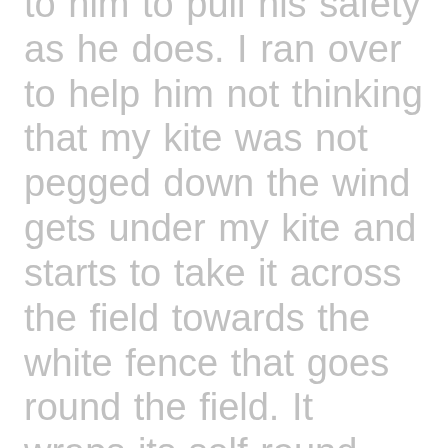to him to pull his safety as he does. I ran over to help him not thinking that my kite was not pegged down the wind gets under my kite and starts to take it across the field towards the white fence that goes round the field. It wraps its self round this so I run for the bar as I get to the bar the safety is tangled all round it so I just dive on the lot with the bar behind me and the kite in front, at this point